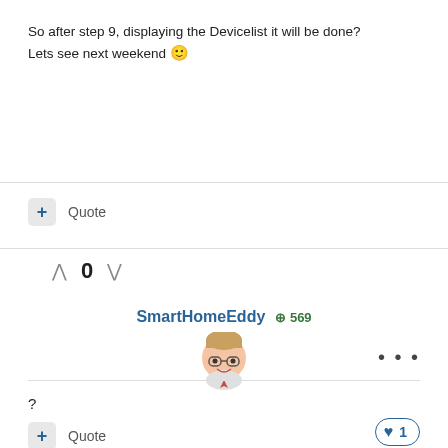So after step 9, displaying the Devicelist it will be done? Lets see next weekend 🙂
Quote
0
SmartHomeEddy ⊕569
[Figure (illustration): Avatar illustration of a cartoon character with glasses]
?
Quote
1